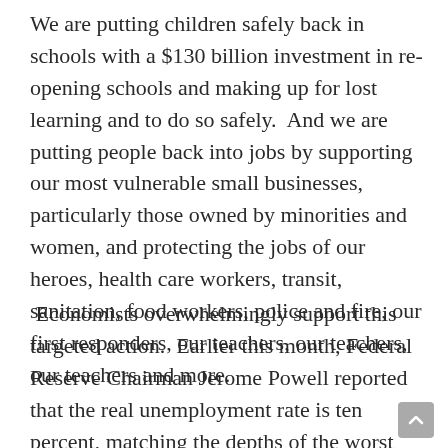We are putting children safely back in schools with a $130 billion investment in re-opening schools and making up for lost learning and to do so safely.  And we are putting people back into jobs by supporting our most vulnerable small businesses, particularly those owned by minorities and women, and protecting the jobs of our heroes, health care workers, transit, sanitation, food workers, police and fire, our first responders, our teachers, our teachers, our teachers and more.
Economists overwhelmingly support this targeted action.  Earlier this month, Federal Reserve Chairman Jerome Powell reported that the real unemployment rate is ten percent, matching the depths of the worst point of the Great Recession.  As he said, ‘We are still very far from a strong labor market whose benefits